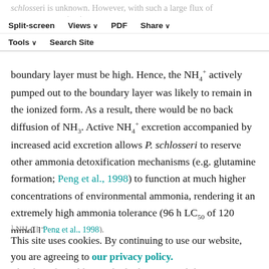Navigation bar with Split-screen, Views, PDF, Share, Tools, Search Site
schlosseri is unknown. However, with such a large flux of H+(3 μmol min−1 g−1) into the bulk of the external medium, it is logical to conclude that the concentration of H+ in the boundary layer must be high. Hence, the NH4+ actively pumped out to the boundary layer was likely to remain in the ionized form. As a result, there would be no back diffusion of NH3. Active NH4+ excretion accompanied by increased acid excretion allows P. schlosseri to reserve other ammonia detoxification mechanisms (e.g. glutamine formation; Peng et al., 1998) to function at much higher concentrations of environmental ammonia, rendering it an extremely high ammonia tolerance (96 h LC50 of 120 mmol l−1 NH4Cl; Peng et al., 1998).
This site uses cookies. By continuing to use our website, you are agreeing to our privacy policy.
Accept
The skin of P. schlosseri had a low permeability to NH3
Unlike branchial and opercular surfaces, the skin had